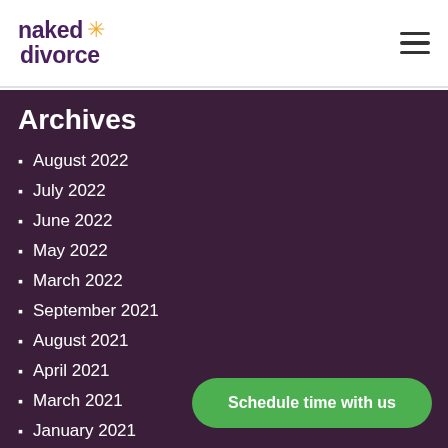[Figure (logo): Naked Divorce logo with purple text and orange star icon]
Archives
August 2022
July 2022
June 2022
May 2022
March 2022
September 2021
August 2021
April 2021
March 2021
January 2021
November 2020
October 2020
September 2020
August 2020
July 2020
HOME
SERVICES
Schedule time with us